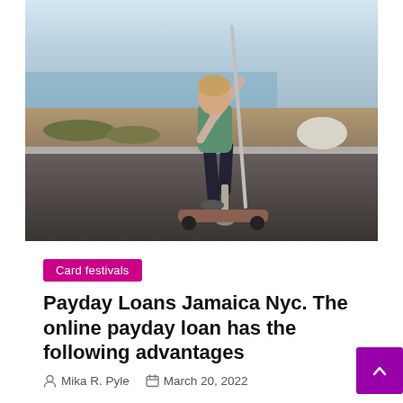[Figure (photo): Person with a prosthetic leg riding a skateboard on an outdoor road, holding a long pole, with water and rocks visible in the background.]
Card festivals
Payday Loans Jamaica Nyc. The online payday loan has the following advantages
Mika R. Pyle   March 20, 2022